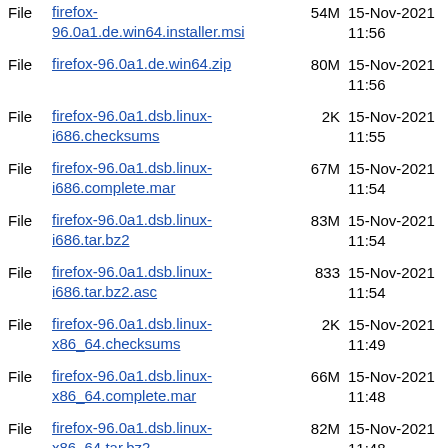File firefox-96.0a1.de.win64.installer.msi 54M 15-Nov-2021 11:56
File firefox-96.0a1.de.win64.zip 80M 15-Nov-2021 11:56
File firefox-96.0a1.dsb.linux-i686.checksums 2K 15-Nov-2021 11:55
File firefox-96.0a1.dsb.linux-i686.complete.mar 67M 15-Nov-2021 11:54
File firefox-96.0a1.dsb.linux-i686.tar.bz2 83M 15-Nov-2021 11:54
File firefox-96.0a1.dsb.linux-i686.tar.bz2.asc 833 15-Nov-2021 11:54
File firefox-96.0a1.dsb.linux-x86_64.checksums 2K 15-Nov-2021 11:49
File firefox-96.0a1.dsb.linux-x86_64.complete.mar 66M 15-Nov-2021 11:48
File firefox-96.0a1.dsb.linux-x86_64.tar.bz2 82M 15-Nov-2021 11:48
File firefox-96.0a1.dsb.linux-x86_64.tar.bz2.asc 833 15-Nov-2021 11:48
File firefox-96.0a1.dsb.mac.checksums 2K 15-Nov-2021 12:34
File firefox-96.0a1.dsb.mac.complete.mar 100M 15-Nov-